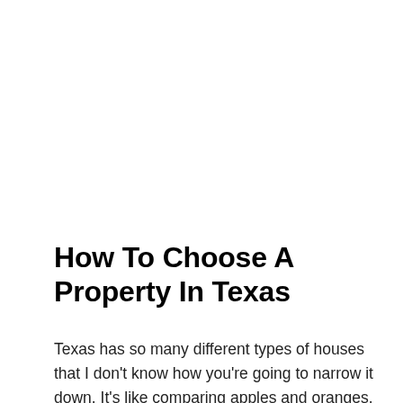How To Choose A Property In Texas
Texas has so many different types of houses that I don't know how you're going to narrow it down. It's like comparing apples and oranges. You start out